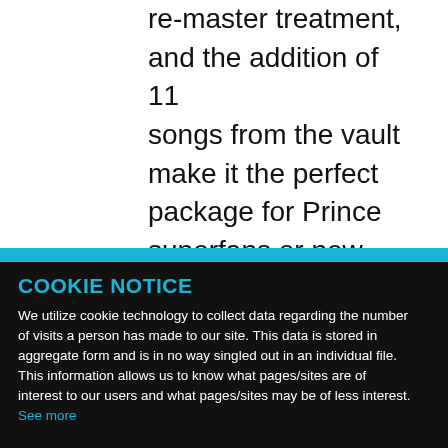re-master treatment, and the addition of 11 songs from the vault make it the perfect package for Prince superfans or new listeners who have
COOKIE NOTICE
We utilize cookie technology to collect data regarding the number of visits a person has made to our site. This data is stored in aggregate form and is in no way singled out in an individual file. This information allows us to know what pages/sites are of interest to our users and what pages/sites may be of less interest. See more